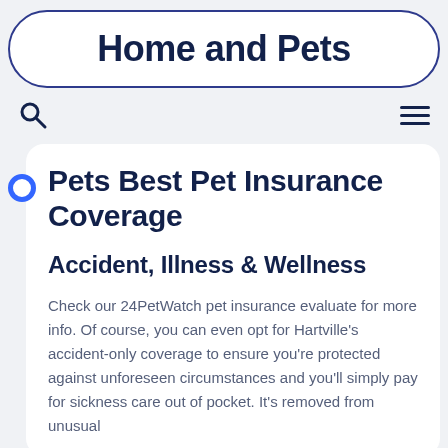Home and Pets
Pets Best Pet Insurance Coverage
Accident, Illness & Wellness
Check our 24PetWatch pet insurance evaluate for more info. Of course, you can even opt for Hartville's accident-only coverage to ensure you're protected against unforeseen circumstances and you'll simply pay for sickness care out of pocket. It's removed from unusual